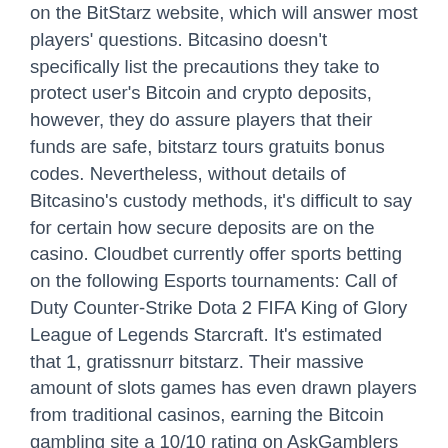on the BitStarz website, which will answer most players' questions. Bitcasino doesn't specifically list the precautions they take to protect user's Bitcoin and crypto deposits, however, they do assure players that their funds are safe, bitstarz tours gratuits bonus codes. Nevertheless, without details of Bitcasino's custody methods, it's difficult to say for certain how secure deposits are on the casino. Cloudbet currently offer sports betting on the following Esports tournaments: Call of Duty Counter-Strike Dota 2 FIFA King of Glory League of Legends Starcraft. It's estimated that 1, gratissnurr bitstarz. Their massive amount of slots games has even drawn players from traditional casinos, earning the Bitcoin gambling site a 10/10 rating on AskGamblers for its huge variety. BitStarz also works with some of the leading game providers in the industry, so there are constantly new titles